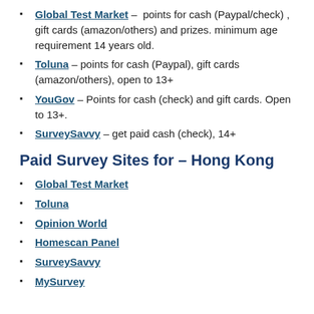Global Test Market – points for cash (Paypal/check), gift cards (amazon/others) and prizes. minimum age requirement 14 years old.
Toluna – points for cash (Paypal), gift cards (amazon/others), open to 13+
YouGov – Points for cash (check) and gift cards. Open to 13+.
SurveySavvy – get paid cash (check), 14+
Paid Survey Sites for – Hong Kong
Global Test Market
Toluna
Opinion World
Homescan Panel
SurveySavvy
MySurvey